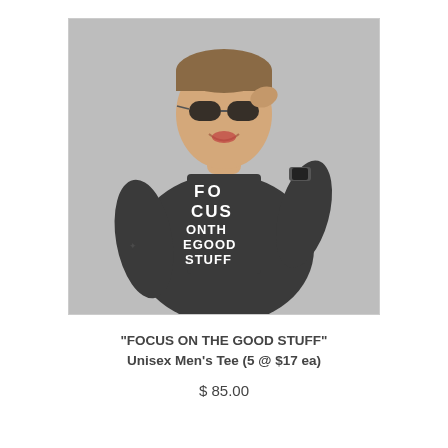[Figure (photo): A man wearing a dark charcoal t-shirt with 'FOCUS ON THE GOOD STUFF' printed in white letters in an eye-chart style, wearing sunglasses and a watch, smiling, standing in front of a grey stucco wall.]
"FOCUS ON THE GOOD STUFF" Unisex Men's Tee (5 @ $17 ea)
$ 85.00